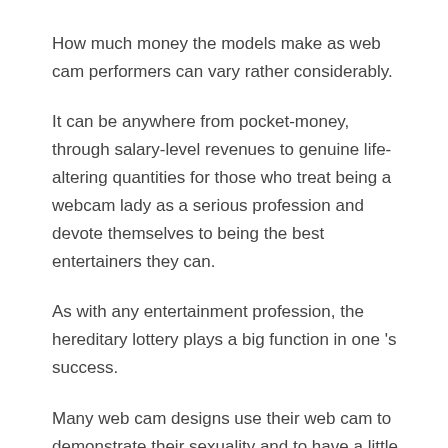How much money the models make as web cam performers can vary rather considerably.
It can be anywhere from pocket-money, through salary-level revenues to genuine life-altering quantities for those who treat being a webcam lady as a serious profession and devote themselves to being the best entertainers they can.
As with any entertainment profession, the hereditary lottery plays a big function in one 's success.
Many web cam designs use their web cam to demonstrate their sexuality and to have a little enjoyable.
They likewise provide a service, which is the capability to be supervised while they masturbate themselves or watch other individuals masturbating. Chaturbate How Do See My Followers